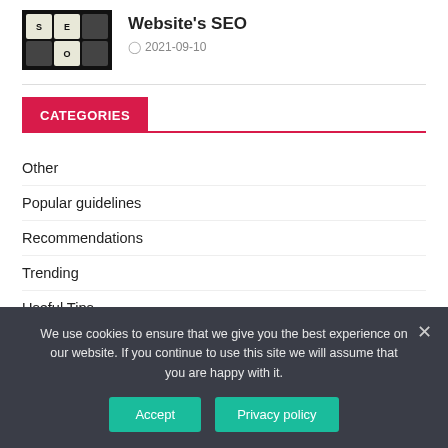[Figure (photo): SEO scrabble tiles image thumbnail]
Website's SEO
2021-09-10
CATEGORIES
Other
Popular guidelines
Recommendations
Trending
Useful Tips
Users' questions
We use cookies to ensure that we give you the best experience on our website. If you continue to use this site we will assume that you are happy with it.